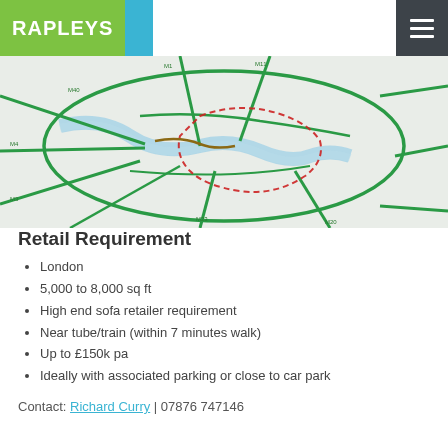RAPLEYS
[Figure (map): Street/road map of London area showing motorways and major roads in green, with the River Thames in blue, and a red dashed boundary marking the search area.]
Retail Requirement
London
5,000 to 8,000 sq ft
High end sofa retailer requirement
Near tube/train (within 7 minutes walk)
Up to £150k pa
Ideally with associated parking or close to car park
Contact: Richard Curry | 07876 747146